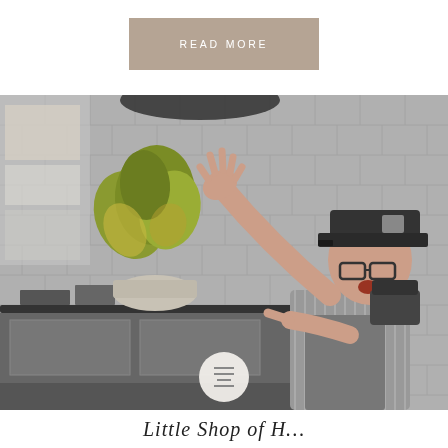READ MORE
[Figure (photo): A man wearing a black cap and glasses reaches up with one hand toward a large decorative plant in a pot on a dark counter. He is pointing with his other hand. The scene is set against a grey brick tile wall background. The image is in muted/desaturated color tones. A small circular icon with horizontal lines is overlaid at the bottom center of the photo.]
Little Shop of H...